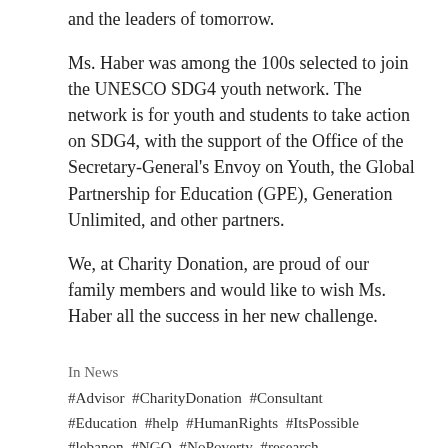and the leaders of tomorrow.
Ms. Haber was among the 100s selected to join the UNESCO SDG4 youth network. The network is for youth and students to take action on SDG4, with the support of the Office of the Secretary-General's Envoy on Youth, the Global Partnership for Education (GPE), Generation Unlimited, and other partners.
We, at Charity Donation, are proud of our family members and would like to wish Ms. Haber all the success in her new challenge.
In News
#Advisor #CharityDonation #Consultant
#Education #help #HumanRights #ItsPossible
#lebanon #NGO #NoPoverty #research
#Rights #SDG #TerryBitar #UN #unesco